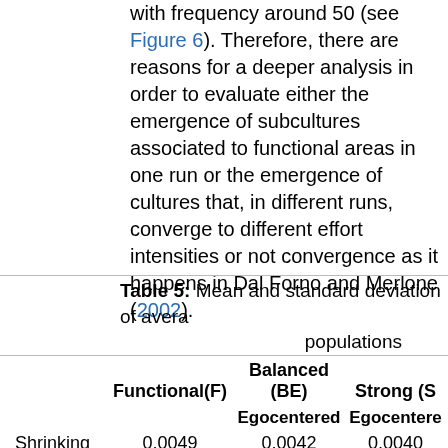with frequency around 50 (see Figure 6). Therefore, there are reasons for a deeper analysis in order to evaluate either the emergence of subcultures associated to functional areas in one run or the emergence of cultures that, in different runs, converge to different effort intensities or not convergence as it happens in Dal Forno and Merlone (2002).
Table 5: Mean and standard deviation of average effort in all populations
|  | Functional(F) | Balanced (BE) | Strong (S) |
| --- | --- | --- | --- |
|  |  | Egocentered | Egocentered |
| Shrinking | 0,0049 | 0,0042 | 0,0040 |
|  | (0,0044) | (0,0036) | (0,0043) |